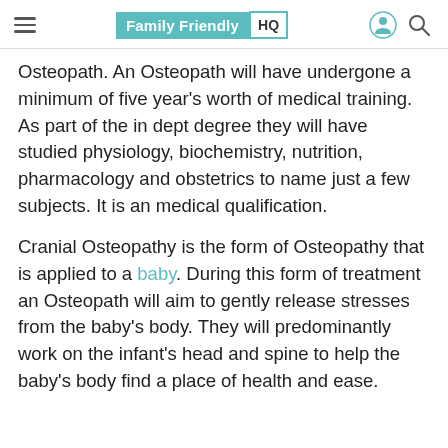Family Friendly HQ
Osteopath. An Osteopath will have undergone a minimum of five year's worth of medical training. As part of the in dept degree they will have studied physiology, biochemistry, nutrition, pharmacology and obstetrics to name just a few subjects. It is an medical qualification.
Cranial Osteopathy is the form of Osteopathy that is applied to a baby. During this form of treatment an Osteopath will aim to gently release stresses from the baby's body. They will predominantly work on the infant's head and spine to help the baby's body find a place of health and ease.